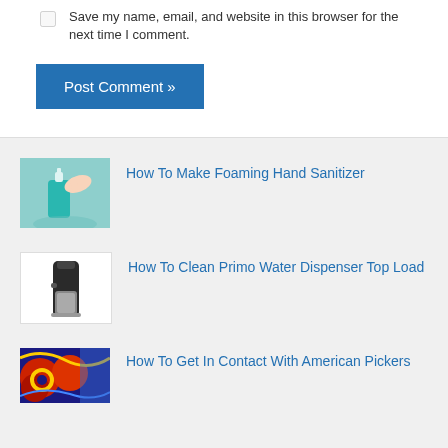Save my name, email, and website in this browser for the next time I comment.
Post Comment »
How To Make Foaming Hand Sanitizer
[Figure (photo): Teal/turquoise foaming hand sanitizer bottle with a hand pressing the pump dispenser, on a light blue background]
How To Clean Primo Water Dispenser Top Load
[Figure (photo): Black and silver Primo water dispenser top load unit on white background]
How To Get In Contact With American Pickers
[Figure (photo): Colorful abstract graphic with red, yellow, blue and black patterns, partial view]